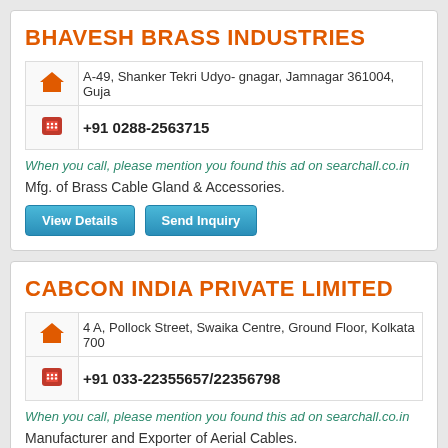BHAVESH BRASS INDUSTRIES
| Icon | Detail |
| --- | --- |
| [home icon] | A-49, Shanker Tekri Udyo- gnagar, Jamnagar 361004, Gujarat |
| [phone icon] | +91 0288-2563715 |
When you call, please mention you found this ad on searchall.co.in
Mfg. of Brass Cable Gland & Accessories.
View Details   Send Inquiry
CABCON INDIA PRIVATE LIMITED
| Icon | Detail |
| --- | --- |
| [home icon] | 4 A, Pollock Street, Swaika Centre, Ground Floor, Kolkata 700 |
| [phone icon] | +91 033-22355657/22356798 |
When you call, please mention you found this ad on searchall.co.in
Manufacturer and Exporter of Aerial Cables.
View Details   Send Inquiry
CEM ALLIED INDUSTRIES PRIVATE LIMITED